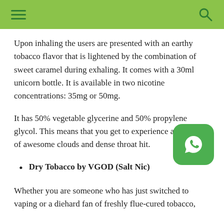Upon inhaling the users are presented with an earthy tobacco flavor that is lightened by the combination of sweet caramel during exhaling. It comes with a 30ml unicorn bottle. It is available in two nicotine concentrations: 35mg or 50mg.
It has 50% vegetable glycerine and 50% propylene glycol. This means that you get to experience a balance of awesome clouds and dense throat hit.
Dry Tobacco by VGOD (Salt Nic)
Whether you are someone who has just switched to vaping or a diehard fan of freshly flue-cured tobacco,